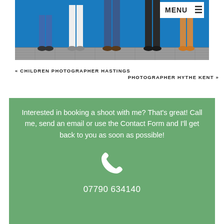[Figure (photo): Photo of a group of people (only lower bodies/legs visible) standing against a blue wall on a metal grate floor]
« CHILDREN PHOTOGRAPHER HASTINGS
PHOTOGRAPHER HYTHE KENT »
Interested in booking a shoot with me? That's great! Call me, send an email or use the Contact Form and I'll get back to you as soon as possible!
[Figure (illustration): White phone handset icon]
07790 634140